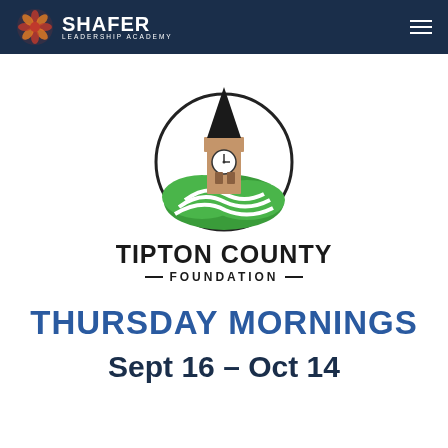SHAFER LEADERSHIP ACADEMY
[Figure (logo): Tipton County Foundation logo: clock tower with green rolling hills inside a circle]
TIPTON COUNTY FOUNDATION
THURSDAY MORNINGS
Sept 16 – Oct 14